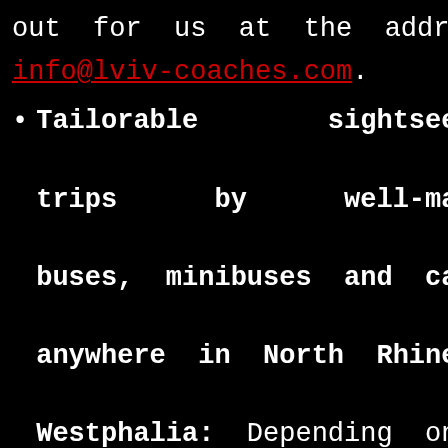out for us at the address info@lviv-coaches.com.
Tailorable sightseeing trips by well-managed buses, minibuses and cars anywhere in North Rhine-Westphalia: Depending on the size of your group, we